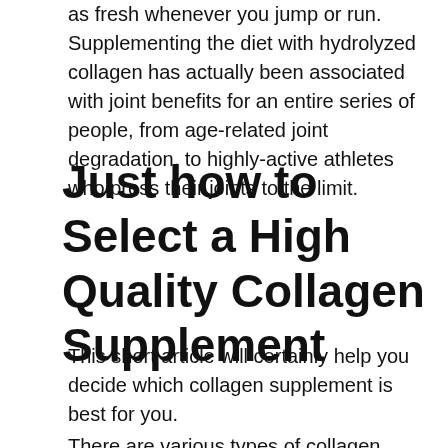as fresh whenever you jump or run. Supplementing the diet with hydrolyzed collagen has actually been associated with joint benefits for an entire series of people, from age-related joint degradation, to highly-active athletes who press their joints to the limit.
Just how to Select a High Quality Collagen Supplement
This short article will certainly help you decide which collagen supplement is best for you.
There are various types of collagen,